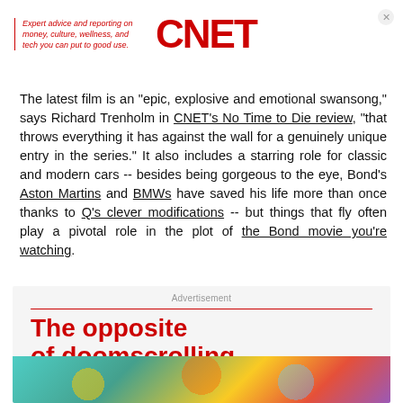Expert advice and reporting on money, culture, wellness, and tech you can put to good use. CNET
The latest film is an "epic, explosive and emotional swansong," says Richard Trenholm in CNET's No Time to Die review, "that throws everything it has against the wall for a genuinely unique entry in the series." It also includes a starring role for classic and modern cars -- besides being gorgeous to the eye, Bond's Aston Martins and BMWs have saved his life more than once thanks to Q's clever modifications -- but things that fly often play a pivotal role in the plot of the Bond movie you're watching.
Advertisement
The opposite of doomscrolling